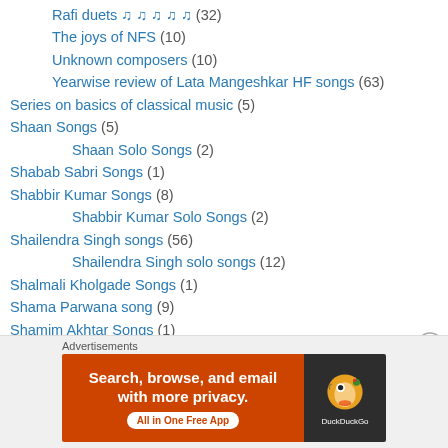Rafi duets ♫ ♫ ♫ ♫ ♫ (32)
The joys of NFS (10)
Unknown composers (10)
Yearwise review of Lata Mangeshkar HF songs (63)
Series on basics of classical music (5)
Shaan Songs (5)
Shaan Solo Songs (2)
Shabab Sabri Songs (1)
Shabbir Kumar Songs (8)
Shabbir Kumar Solo Songs (2)
Shailendra Singh songs (56)
Shailendra Singh solo songs (12)
Shalmali Kholgade Songs (1)
Shama Parwana song (9)
Shamim Akhtar Songs (1)
Shamim Akhtar Solo Songs (1)
Shamim Bano songs (2)
Advertisements
[Figure (screenshot): DuckDuckGo advertisement banner: Search, browse, and email with more privacy. All in One Free App]